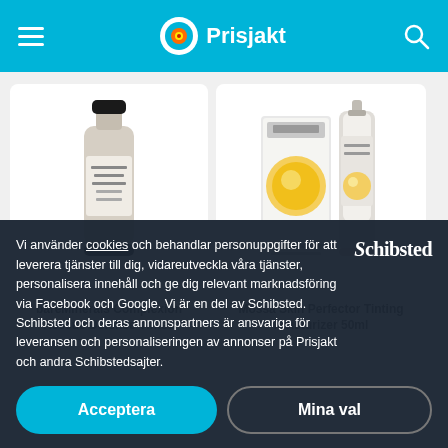Prisjakt
[Figure (photo): bareMinerals Complexion Rescue Defense Tinted product tube]
bareMinerals Complexion Rescue Defense Tinted
[Figure (photo): Mossa Skin Perfector Tinting Moisturizer 50ml product box and bottle]
Mossa Skin Perfector Tinting Moisturizer 50ml
Vi använder cookies och behandlar personuppgifter för att leverera tjänster till dig, vidareutveckla våra tjänster, personalisera innehåll och ge dig relevant marknadsföring via Facebook och Google. Vi är en del av Schibsted. Schibsted och deras annonspartners är ansvariga för leveransen och personaliseringen av annonser på Prisjakt och andra Schibstedsajter.
Schibsted
Acceptera
Mina val